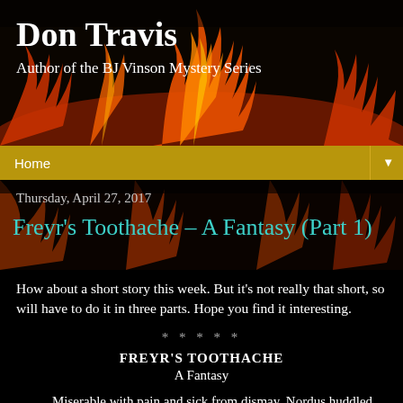Don Travis
Author of the BJ Vinson Mystery Series
Home
Thursday, April 27, 2017
Freyr's Toothache – A Fantasy (Part 1)
How about a short story this week. But it's not really that short, so will have to do it in three parts. Hope you find it interesting.
*****
FREYR'S TOOTHACHE
A Fantasy
Miserable with pain and sick from dismay, Nordus huddled atop a flat rock and gazed morosely into a silver pool of ice